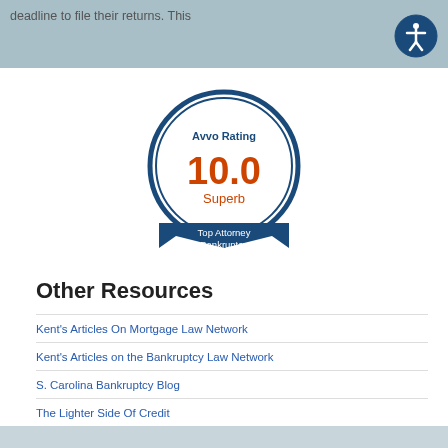deadline to file their returns. This
[Figure (logo): Avvo Rating badge showing 10.0 Superb rating, Top Attorney Bankruptcy]
Other Resources
Kent's Articles On Mortgage Law Network
Kent's Articles on the Bankruptcy Law Network
S. Carolina Bankruptcy Blog
The Lighter Side Of Credit